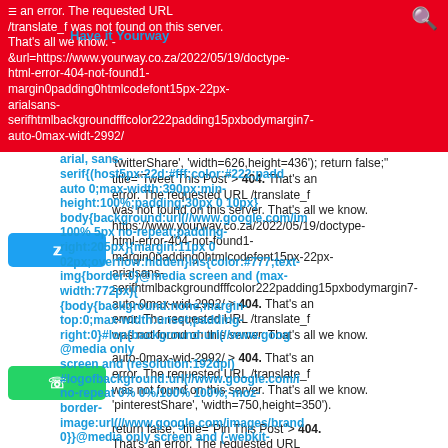[Figure (screenshot): Screenshot of a webpage showing a 404 error overlaid with social sharing buttons (Twitter, WhatsApp, Pinterest) and blue CSS/URL error text overlay]
an error. The requested URL /translate_f was not found on this server. That's all we know. - &url=https://www.yourway.co.za/2022/05/19/doctype-html-error-404-not-found1-margin0padding0htmlcodefont15px-22px-arialsans-serifhtmlbackgroundfffcolor222padding15pxbodymargin7-auto-0max-widt-2992/
Have it Yourway
arial, sans-serif{(host5px:22d:#fff;color:#222;padd auto 0;max-width:390px;min-height:100%;padding:30px 0 10px}body{background:url(//www.google.com/im 100% 5px no-repeat;padding-right:205px}{margin:11px 0 02px;overflow:hidden}ins{color:#777;text-img{border:0}@media screen and (max-width:772px){body{background:none;margin-top:0;max-width:unset;padding-right:0}#lop{background:url(//www.goog @media only screen and (resolution:192dpi) #logofbackground:url(//www.google.com/i no-repeat 0% 0%/100% 100%;-moz-border-image:url(//www.google.com/images/brand 0}}@media only screen and (-webkit-
'twitterShare', 'width=626,height=436'); return false;" title="Tweet This Post"> 404. That's an error. The requested URL /translate_f was not found on this server. That's all we know. https://www.yourway.co.za/2022/05/19/doctype-html-error-404-not-found1-margin0padding0htmlcodefont15px-22px-arialsans-serifhtmlbackgroundfffcolor222padding15pxbodymargin7-auto-0max-wid-2992/ > 404. That's an error. The requested URL /translate_f was not found on this server. That's all we know.
'pinterestShare', 'width=750,height=350'); return false;" title="Pin This Post"> 404. That's an error. The requested URL /translate_f was not found on this server. That's all we know. &BODY=I found this article interesting and thought of sharing it with you. Check it out: